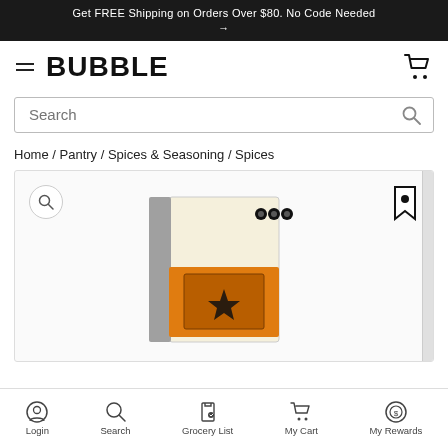Get FREE Shipping on Orders Over $80. No Code Needed →
BUBBLE
Search
Home / Pantry / Spices & Seasoning / Spices
[Figure (photo): Product image area showing a spice box (cream/beige and orange colored box with a star/sun graphic and small logo icons in top right) on a light background, with a zoom icon (circle with magnifying glass) in top-left and a bookmark icon in top-right of the image frame.]
Login   Search   Grocery List   My Cart   My Rewards